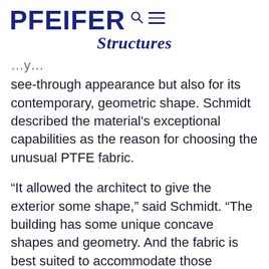PFEIFER Structures
see-through appearance but also for its contemporary, geometric shape. Schmidt described the material's exceptional capabilities as the reason for choosing the unusual PTFE fabric.
“It allowed the architect to give the exterior some shape,” said Schmidt. “The building has some unique concave shapes and geometry. And the fabric is best suited to accommodate those challenges